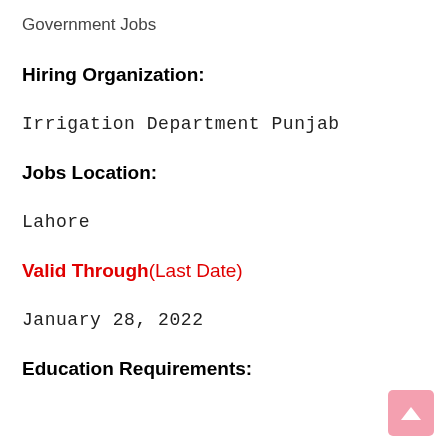Government Jobs
Hiring Organization:
Irrigation Department Punjab
Jobs Location:
Lahore
Valid Through(Last Date)
January 28, 2022
Education Requirements: